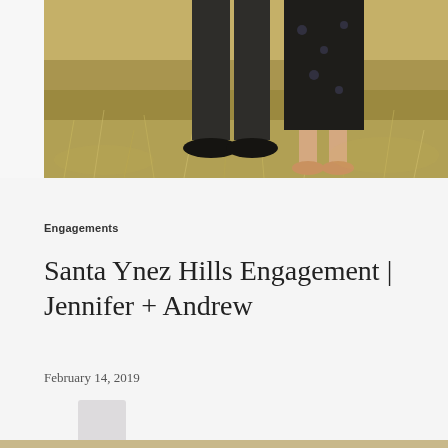[Figure (photo): Outdoor engagement photo showing the lower bodies/legs and feet of a couple standing on dry grass in warm golden light. The man wears dark pants and black shoes; the woman wears a dark floral dress and sandals.]
Engagements
Santa Ynez Hills Engagement | Jennifer + Andrew
February 14, 2019